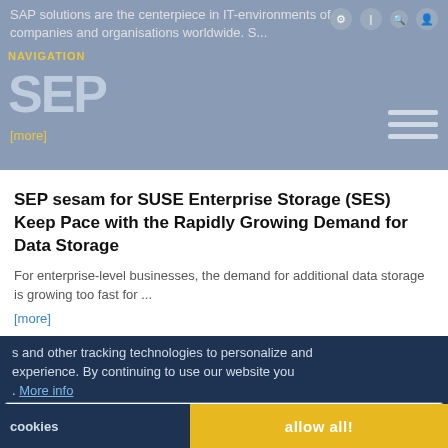SAP solutions are the centerpiece in IT-environments of companies and organisations worldwide. S...
[more]
SEP sesam for SUSE Enterprise Storage (SES) Keep Pace with the Rapidly Growing Demand for Data Storage
For enterprise-level businesses, the demand for additional data storage is growing too fast for ...
[more]
s and other tracking technologies to personalize and experience. By continuing to use our website you . More info
Statistics  Marketing  Youtube  Google Map
Any Questions? – Here you get Answers!
cookies
allow all!